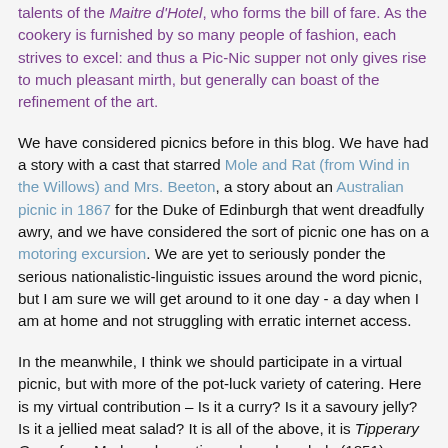talents of the Maitre d'Hotel, who forms the bill of fare. As the cookery is furnished by so many people of fashion, each strives to excel: and thus a Pic-Nic supper not only gives rise to much pleasant mirth, but generally can boast of the refinement of the art.
We have considered picnics before in this blog. We have had a story with a cast that starred Mole and Rat (from Wind in the Willows) and Mrs. Beeton, a story about an Australian picnic in 1867 for the Duke of Edinburgh that went dreadfully awry, and we have considered the sort of picnic one has on a motoring excursion. We are yet to seriously ponder the serious nationalistic-linguistic issues around the word picnic, but I am sure we will get around to it one day - a day when I am at home and not struggling with erratic internet access.
In the meanwhile, I think we should participate in a virtual picnic, but with more of the pot-luck variety of catering. Here is my virtual contribution – Is it a curry? Is it a savoury jelly? Is it a jellied meat salad? It is all of the above, it is Tipperary Curry from Modern domestic cookery, by a lady (1851)